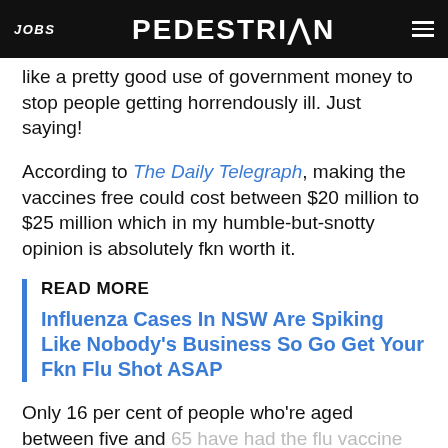JOBS | PEDESTRIAN | [menu icon]
like a pretty good use of government money to stop people getting horrendously ill. Just saying!
According to The Daily Telegraph, making the vaccines free could cost between $20 million to $25 million which in my humble-but-snotty opinion is absolutely fkn worth it.
READ MORE
Influenza Cases In NSW Are Spiking Like Nobody's Business So Go Get Your Fkn Flu Shot ASAP
Only 16 per cent of people who're aged between five and 65 have had the flu vaccine this year so need we remind you, it's not just for boomers.